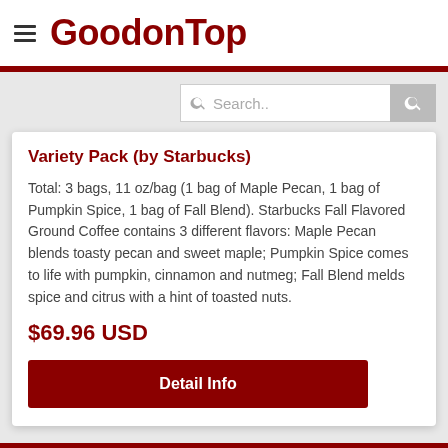GoodonTop
Variety Pack (by Starbucks)
Total: 3 bags, 11 oz/bag (1 bag of Maple Pecan, 1 bag of Pumpkin Spice, 1 bag of Fall Blend). Starbucks Fall Flavored Ground Coffee contains 3 different flavors: Maple Pecan blends toasty pecan and sweet maple; Pumpkin Spice comes to life with pumpkin, cinnamon and nutmeg; Fall Blend melds spice and citrus with a hint of toasted nuts.
$69.96 USD
Detail Info